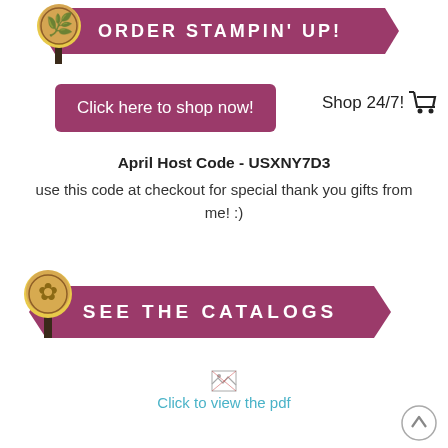[Figure (illustration): Banner ribbon with decorative tree icon and text ORDER STAMPIN' UP! in white uppercase letters on dark pink/mauve ribbon]
Click here to shop now!
Shop 24/7!
April Host Code - USXNY7D3
use this code at checkout for special thank you gifts from me! :)
[Figure (illustration): Banner ribbon with decorative tree icon and text SEE THE CATALOGS in white uppercase letters on dark pink/mauve ribbon]
[Figure (illustration): Small broken image placeholder for catalog PDF thumbnail]
Click to view the pdf